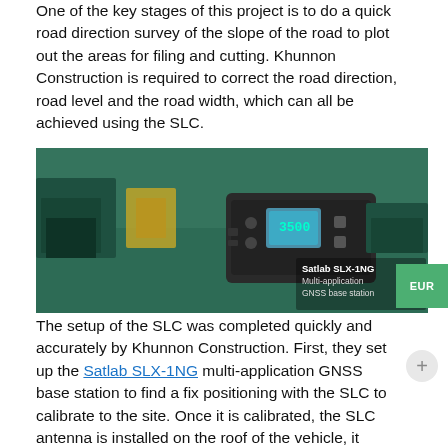One of the key stages of this project is to do a quick road direction survey of the slope of the road to plot out the areas for filing and cutting. Khunnon Construction is required to correct the road direction, road level and the road width, which can all be achieved using the SLC.
[Figure (photo): Photo of Satlab SLX-1NG Multi-application GNSS base station device, shown against a background with trucks and vehicles. Text overlay on right reads: Satlab SLX-1NG Multi-application GNSS base station]
The setup of the SLC was completed quickly and accurately by Khunnon Construction. First, they set up the Satlab SLX-1NG multi-application GNSS base station to find a fix positioning with the SLC to calibrate to the site. Once it is calibrated, the SLC antenna is installed on the roof of the vehicle, it seamlessly connects with the tablet to provide real-time data values of N, E, Z and TIN model (triangulated irregular network). For further cross-checking, the SL600